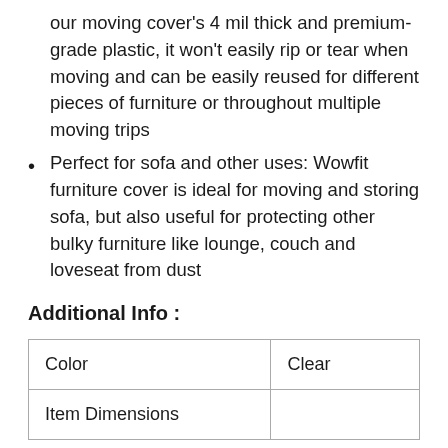our moving cover's 4 mil thick and premium-grade plastic, it won't easily rip or tear when moving and can be easily reused for different pieces of furniture or throughout multiple moving trips
Perfect for sofa and other uses: Wowfit furniture cover is ideal for moving and storing sofa, but also useful for protecting other bulky furniture like lounge, couch and loveseat from dust
Additional Info :
| Color | Clear |
| Item Dimensions |  |